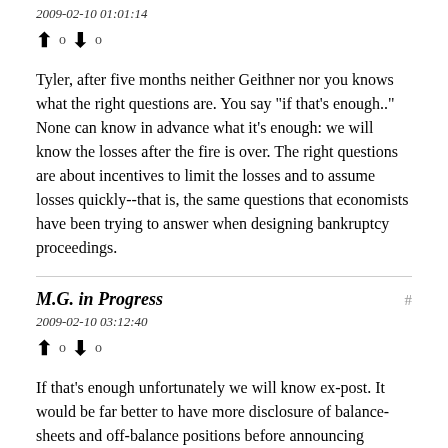2009-02-10 01:01:14
▲ 0 ▼ 0
Tyler, after five months neither Geithner nor you knows what the right questions are. You say "if that's enough.." None can know in advance what it's enough: we will know the losses after the fire is over. The right questions are about incentives to limit the losses and to assume losses quickly--that is, the same questions that economists have been trying to answer when designing bankruptcy proceedings.
M.G. in Progress
2009-02-10 03:12:40
▲ 0 ▼ 0
If that's enough unfortunately we will know ex-post. It would be far better to have more disclosure of balance-sheets and off-balance positions before announcing anything. Some projections would be desirable. Yet it appears they continue to be